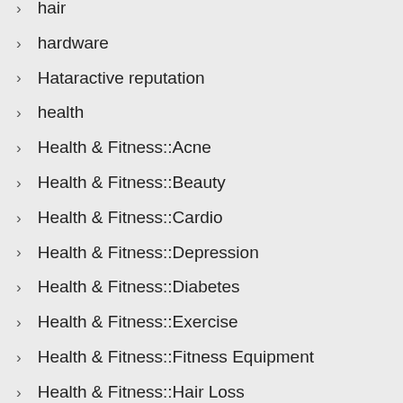hair
hardware
Hataractive reputation
health
Health & Fitness::Acne
Health & Fitness::Beauty
Health & Fitness::Cardio
Health & Fitness::Depression
Health & Fitness::Diabetes
Health & Fitness::Exercise
Health & Fitness::Fitness Equipment
Health & Fitness::Hair Loss